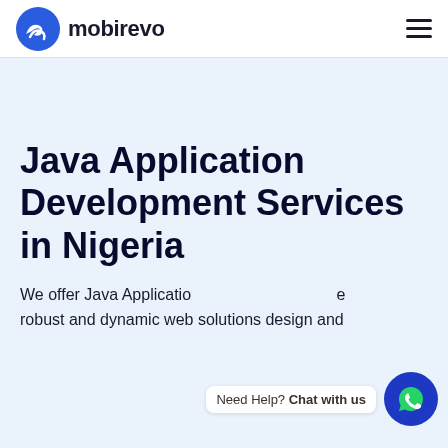mobirevo
Java Application Development Services in Nigeria
We offer Java Application e robust and dynamic web solutions design and